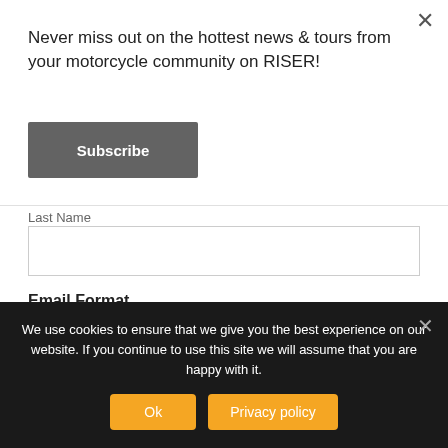Never miss out on the hottest news & tours from your motorcycle community on RISER!
[Figure (screenshot): Subscribe button with dark gray background and white bold text]
Last Name
Email Format
html
text
Marketing Permissions
We use cookies to ensure that we give you the best experience on our website. If you continue to use this site we will assume that you are happy with it.
Ok
Privacy policy